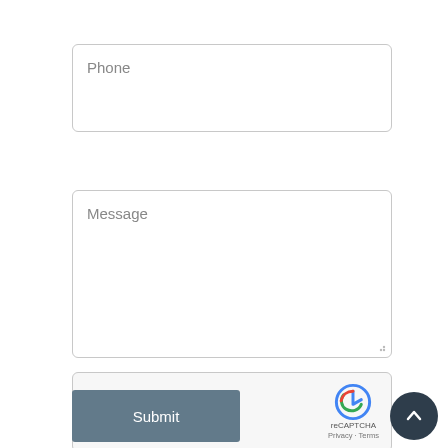[Figure (screenshot): Phone input field with placeholder text 'Phone']
[Figure (screenshot): Message textarea with placeholder text 'Message' and resize handle]
[Figure (screenshot): reCAPTCHA widget with checkbox 'I'm not a robot', reCAPTCHA logo, Privacy and Terms links]
[Figure (screenshot): Submit button with label 'Submit']
[Figure (screenshot): Scroll-to-top circular button with chevron/caret up icon]